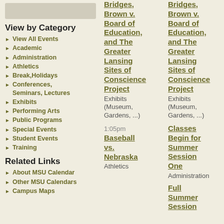[Figure (other): Gray placeholder box in upper left]
View by Category
View All Events
Academic
Administration
Athletics
Break,Holidays
Conferences, Seminars, Lectures
Exhibits
Performing Arts
Public Programs
Special Events
Student Events
Training
Related Links
About MSU Calendar
Other MSU Calendars
Campus Maps
Ruby Bridges, Brown v. Board of Education, and The Greater Lansing Sites of Conscience Project — Exhibits (Museum, Gardens, ...)
Ruby Bridges, Brown v. Board of Education, and The Greater Lansing Sites of Conscience Project — Exhibits (Museum, Gardens, ...)
Food Safety Culture... Exec... Educ... Conference, Seminar, Lecture
1:05pm Baseball vs. Nebraska — Athletics
Classes Begin for Summer Session One — Administration
Full Summer Session...
Ruby Bridges, Brown v. Board of Education, and The Greater Lansing Sites of Conscience Project — Exhibits (Museum, Gardens...)